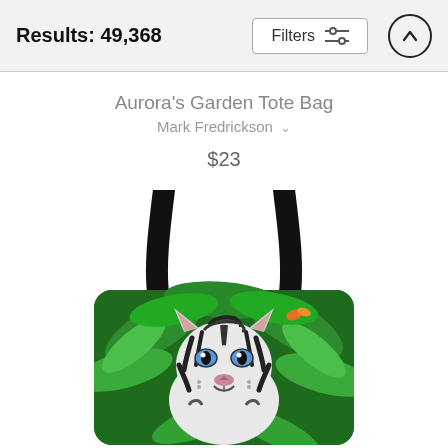Results: 49,368
Aurora's Garden Tote Bag
Mark Fredrickson
$23
[Figure (photo): A tote bag featuring a white tiger with blue eyes surrounded by lush green jungle foliage, with black straps. The bag has rounded bottom corners.]